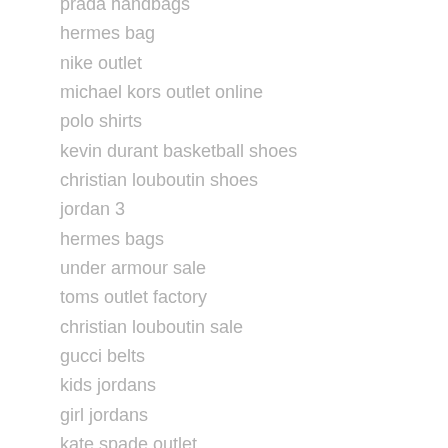prada handbags
hermes bag
nike outlet
michael kors outlet online
polo shirts
kevin durant basketball shoes
christian louboutin shoes
jordan 3
hermes bags
under armour sale
toms outlet factory
christian louboutin sale
gucci belts
kids jordans
girl jordans
kate spade outlet
hermes birkin
polo outlet
fitflop shoes
polo shirt
hermes outlet
canada goose coats on sale